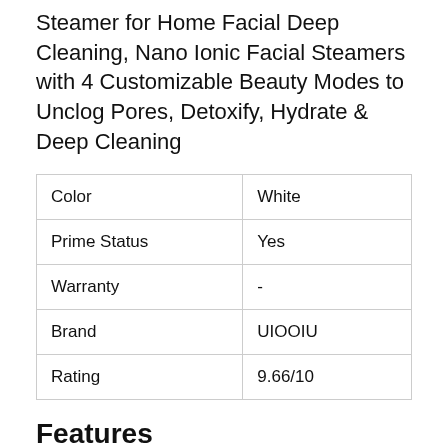Steamer for Home Facial Deep Cleaning, Nano Ionic Facial Steamers with 4 Customizable Beauty Modes to Unclog Pores, Detoxify, Hydrate & Deep Cleaning
| Color | White |
| Prime Status | Yes |
| Warranty | - |
| Brand | UIOOIU |
| Rating | 9.66/10 |
Features
→ 【Upgraded Technology】Nano Ionic